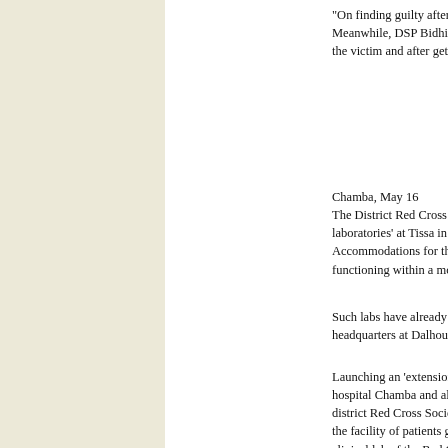“On finding guilty after the inquiry, departmental a… Meanwhile, DSP Bidhi Chand revealed that the po… the victim and after getting the report IPC Sections…
Red Cross plans
Our C…
Chamba, May 16
The District Red Cross Society, Chamba, has decid… laboratories’ at Tissa in Churah subdivision and Ch… Accommodations for the labs outfitted with essent… functioning within a month’s time.
Such labs have already been functioning at the dist… headquarters at Dalhousie rendering yeomen servic…
Launching an ‘extension centre’ of the District Red… hospital Chamba and also introducing ECG facility… district Red Cross Society, said this extension centr… the facility of patients getting their blood samples s… clinical lab of the Red Cross.